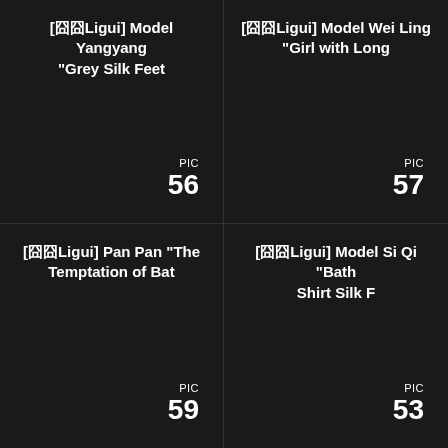[囧囧Ligui] Model Yangyang “Grey Silk Feet
PIC 56
[囧囧Ligui] Model Wei Ling “Girl with Long
PIC 57
[囧囧Ligui] Pan Pan “The Temptation of Bat
PIC 59
[囧囧Ligui] Model Si Qi “Bath Shirt Silk F
PIC 53